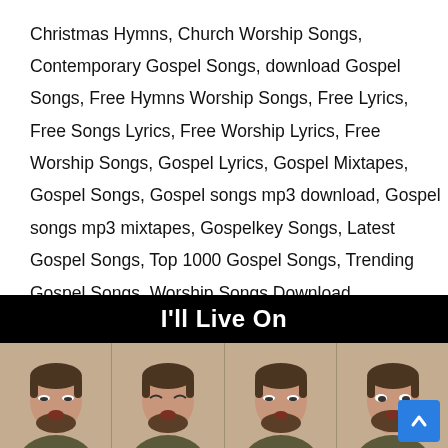Christmas Hymns, Church Worship Songs, Contemporary Gospel Songs, download Gospel Songs, Free Hymns Worship Songs, Free Lyrics, Free Songs Lyrics, Free Worship Lyrics, Free Worship Songs, Gospel Lyrics, Gospel Mixtapes, Gospel Songs, Gospel songs mp3 download, Gospel songs mp3 mixtapes, Gospelkey Songs, Latest Gospel Songs, Top 1000 Gospel Songs, Trending Gospel Songs, Worship Songs Download
[Figure (screenshot): A video thumbnail showing a black title bar with white bold text 'I'll Live On' and below it four side-by-side panels each showing the same bearded man in a dark olive/green sweater against a tan background, appearing to be singing or speaking.]